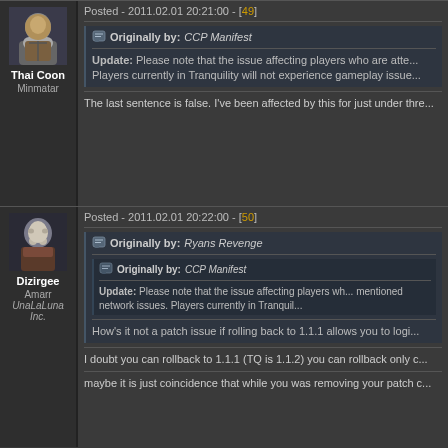Posted - 2011.02.01 20:21:00 - [49]
Originally by: CCP Manifest
Update: Please note that the issue affecting players who are atte... Players currently in Tranquility will not experience gameplay issue...
The last sentence is false. I've been affected by this for just under thre...
Thai Coon
Minmatar
Posted - 2011.02.01 20:22:00 - [50]
Originally by: Ryans Revenge
Originally by: CCP Manifest
Update: Please note that the issue affecting players wh... mentioned network issues. Players currently in Tranquil...
How's it not a patch issue if rolling back to 1.1.1 allows you to logi...
Dizirgee
Amarr
UnaLaLuna Inc.
I doubt you can rollback to 1.1.1 (TQ is 1.1.2) you can rollback only c...
maybe it is just coincidence that while you was removing your patch c...